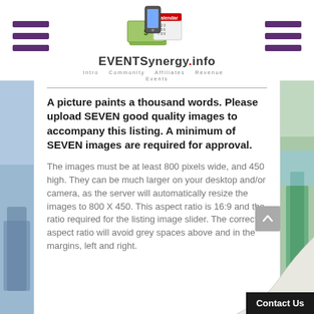EVENTSynergy.info — Intro, Community, Affiliates, Revenue, Events
A picture paints a thousand words. Please upload SEVEN good quality images to accompany this listing. A minimum of SEVEN images are required for approval.
The images must be at least 800 pixels wide, and 450 high. They can be much larger on your desktop and/or camera, as the server will automatically resize the images to 800 X 450. This aspect ratio is 16:9 and the ratio required for the listing image slider. The correct aspect ratio will avoid grey spaces above and in the margins, left and right.